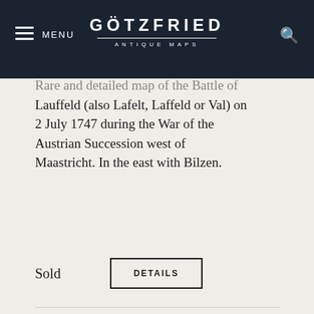GÖTZFRIED ANTIQUE MAPS — MENU
Rare and detailed map of the Battle of Lauffeld (also Lafelt, Laffeld or Val) on 2 July 1747 during the War of the Austrian Succession west of Maastricht. In the east with Bilzen.
Sold   DETAILS
We use cookies to optimize and continuously improve our website. By continuing to use this website, you agree to the use of cookies. Further information on cookies can be found in our Privacy Statement.